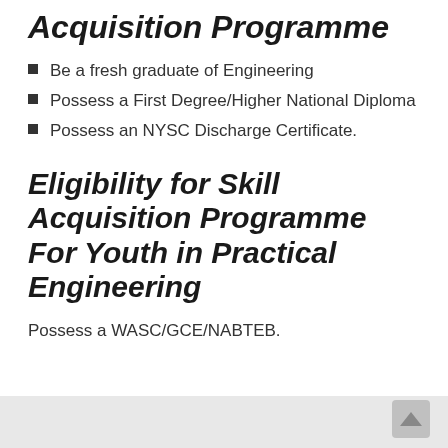Acquisition Programme
Be a fresh graduate of Engineering
Possess a First Degree/Higher National Diploma
Possess an NYSC Discharge Certificate.
Eligibility for Skill Acquisition Programme For Youth in Practical Engineering
Possess a WASC/GCE/NABTEB.